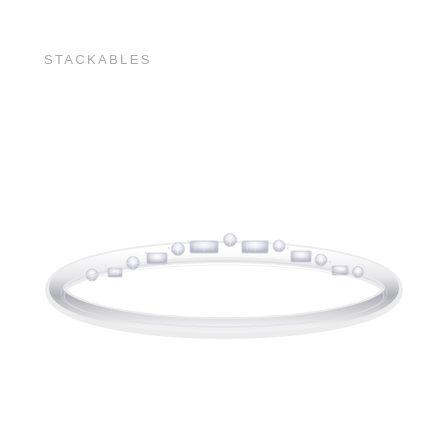STACKABLES
[Figure (photo): A delicate diamond stackable wedding band ring with alternating round and baguette-cut diamonds set in white gold or platinum, photographed on a white background. The thin band curves gently with a row of sparkling stones across the top.]